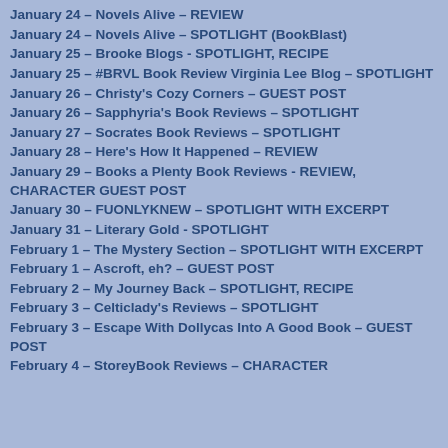January 24 – Novels Alive – REVIEW
January 24 – Novels Alive – SPOTLIGHT (BookBlast)
January 25 – Brooke Blogs - SPOTLIGHT, RECIPE
January 25 – #BRVL Book Review Virginia Lee Blog – SPOTLIGHT
January 26 – Christy's Cozy Corners – GUEST POST
January 26 – Sapphyria's Book Reviews – SPOTLIGHT
January 27 – Socrates Book Reviews – SPOTLIGHT
January 28 – Here's How It Happened – REVIEW
January 29 – Books a Plenty Book Reviews - REVIEW, CHARACTER GUEST POST
January 30 – FUONLYKNEW – SPOTLIGHT WITH EXCERPT
January 31 – Literary Gold - SPOTLIGHT
February 1 – The Mystery Section – SPOTLIGHT WITH EXCERPT
February 1 – Ascroft, eh? – GUEST POST
February 2 – My Journey Back – SPOTLIGHT, RECIPE
February 3 – Celticlady's Reviews – SPOTLIGHT
February 3 – Escape With Dollycas Into A Good Book – GUEST POST
February 4 – StoreyBook Reviews – CHARACTER